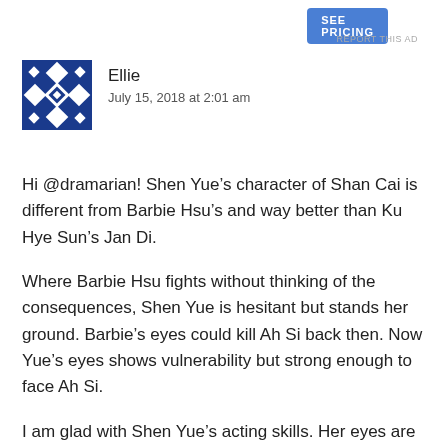[Figure (other): Blue 'SEE PRICING' button (advertisement)]
REPORT THIS AD
[Figure (other): Blue and white geometric/snowflake pattern avatar icon for user Ellie]
Ellie
July 15, 2018 at 2:01 am
Hi @dramarian! Shen Yue's character of Shan Cai is different from Barbie Hsu's and way better than Ku Hye Sun's Jan Di.
Where Barbie Hsu fights without thinking of the consequences, Shen Yue is hesitant but stands her ground. Barbie's eyes could kill Ah Si back then. Now Yue's eyes shows vulnerability but strong enough to face Ah Si.
I am glad with Shen Yue's acting skills. Her eyes are very expressive! Remember when Dao Ming Si threw food at her? She was in a state of shock, not vengeful but hurt. I think she cried after because of the harassment of the two hoodlums